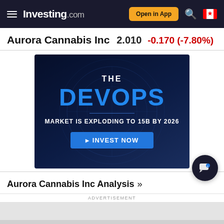Investing.com — Open in App
Aurora Cannabis Inc 2.010 -0.170 (-7.80%)
[Figure (screenshot): Advertisement banner: THE DEVOPS MARKET IS EXPLODING TO 15B BY 2026 — INVEST NOW]
Aurora Cannabis Inc Analysis »
ADVERTISEMENT